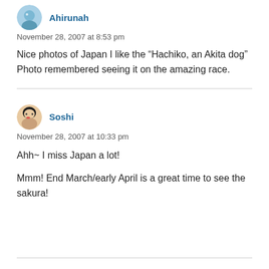[Figure (illustration): Partial avatar icon at top, circular, blue/teal colors; partially cut off at top of page]
Ahirunah
November 28, 2007 at 8:53 pm
Nice photos of Japan I like the “Hachiko, an Akita dog” Photo remembered seeing it on the amazing race.
[Figure (illustration): Circular avatar icon showing an anime-style face with black hair]
Soshi
November 28, 2007 at 10:33 pm
Ahh~ I miss Japan a lot!
Mmm! End March/early April is a great time to see the sakura!